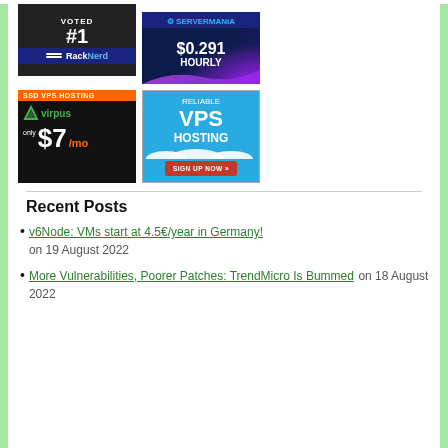[Figure (advertisement): RackNerd ad: VOTED #1 with blue banner logo]
[Figure (advertisement): ServerMania ad: $0.291 HOURLY with purple glow]
[Figure (advertisement): Virpus SSD VPS HOSTING only $7/mo on dark background]
[Figure (advertisement): Reliable VPS Hosting blue ad with SIGN UP NOW button]
Recent Posts
v6Node: VMs start at 4.5€/year in Germany! on 19 August 2022
More Vulnerabilities, Poorer Patches: TrendMicro Is Bummed on 18 August 2022